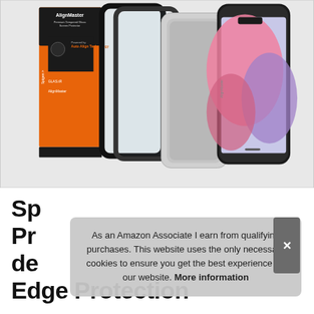[Figure (photo): Product photo of Spigen AlignMaster tempered glass screen protector for iPhone, showing orange product box, two glass protectors, alignment frame, and iPhone with colorful wallpaper]
Sp Pr de Edge Protection
As an Amazon Associate I earn from qualifying purchases. This website uses the only necessary cookies to ensure you get the best experience on our website. More information